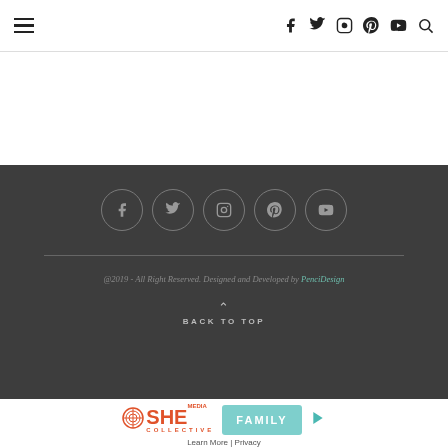Navigation bar with hamburger menu and social icons (f, twitter, instagram, pinterest, youtube, search)
[Figure (other): Footer with social media circle icons (facebook, twitter, instagram, pinterest, youtube) on dark background, divider line, copyright text '@2019 - All Right Reserved. Designed and Developed by PenciDesign', and BACK TO TOP button]
@2019 - All Right Reserved. Designed and Developed by PenciDesign
[Figure (logo): SHE Media Collective advertisement banner with FAMILY button in teal, play icon, and 'Learn More | Privacy' links]